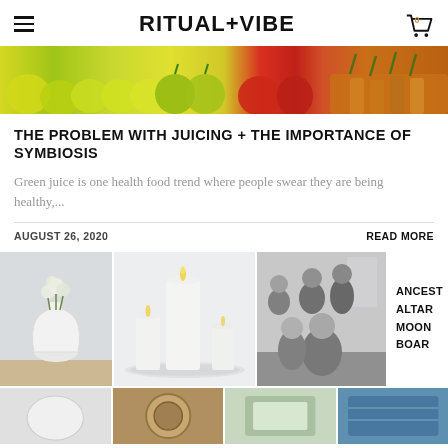RITUAL+VIBE
[Figure (photo): Top strip of colorful fruits and vegetables including lemons, apples, tomatoes, peppers, and carrots on a counter]
THE PROBLEM WITH JUICING + THE IMPORTANCE OF SYMBIOSIS
Green juice is one health food trend where people swear they are being healthy,...
AUGUST 26, 2020   READ MORE
[Figure (photo): White flower vase on wooden table]
[Figure (photo): White pillar candles on glass holder]
[Figure (photo): Black and white vintage family portrait photo]
ANCEST
ALTAR
MOON
BOAR
[Figure (photo): Bottom row thumbnails: white object, circular design, teal packaging, blue pattern]